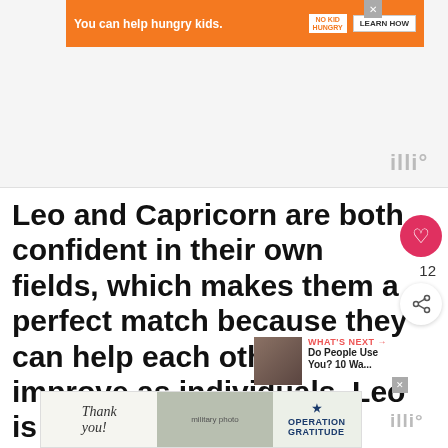[Figure (screenshot): Orange advertisement banner: 'You can help hungry kids.' with No Kid Hungry logo and Learn How button]
Leo and Capricorn are both confident in their own fields, which makes them a perfect match because they can help each other improve as individuals. Leo is comfortable making big decisions, while
[Figure (screenshot): Bottom advertisement banner: Thank you Operation Gratitude with military personnel photo]
[Figure (screenshot): What's Next panel: Do People Use You? 10 Wa... with thumbnail of person]